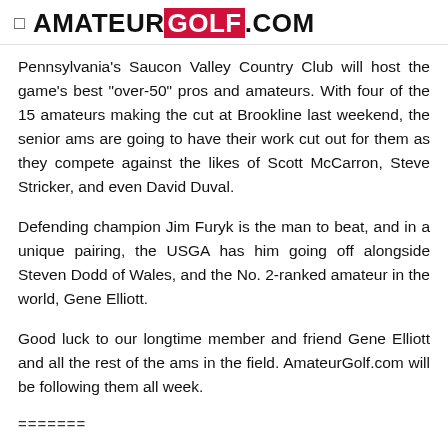AMATEUR GOLF .COM
Pennsylvania's Saucon Valley Country Club will host the game's best "over-50" pros and amateurs. With four of the 15 amateurs making the cut at Brookline last weekend, the senior ams are going to have their work cut out for them as they compete against the likes of Scott McCarron, Steve Stricker, and even David Duval.
Defending champion Jim Furyk is the man to beat, and in a unique pairing, the USGA has him going off alongside Steven Dodd of Wales, and the No. 2-ranked amateur in the world, Gene Elliott.
Good luck to our longtime member and friend Gene Elliott and all the rest of the ams in the field. AmateurGolf.com will be following them all week.
=======